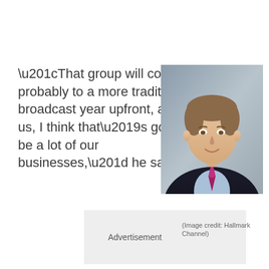“That group will commit probably to a more traditional broadcast year upfront, and for us, I think that’s going to be a lot of our businesses,” he said.
[Figure (photo): Headshot of a middle-aged man in a dark suit with a pink/magenta tie, light blue dress shirt, smiling, against a grey background.]
Advertisement
(Image credit: Hallmark Channel)